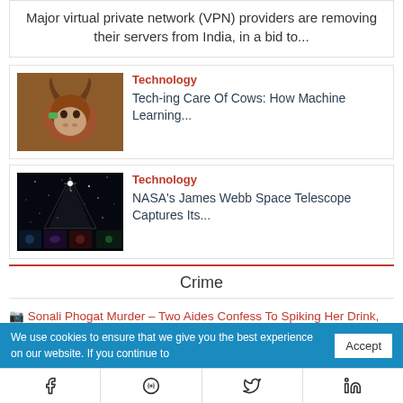Major virtual private network (VPN) providers are removing their servers from India, in a bid to...
[Figure (photo): Close-up photo of a cow with horns against a warm orange/brown background]
Technology
Tech-ing Care Of Cows: How Machine Learning...
[Figure (photo): NASA James Webb Space Telescope image showing stars and deep space, with smaller inset images at the bottom]
Technology
NASA's James Webb Space Telescope Captures Its...
Crime
Sonali Phogat Murder – Two Aides Confess To Spiking Her Drink, Formally Arrested: Goa Police
We use cookies to ensure that we give you the best experience on our website. If you continue to
Accept